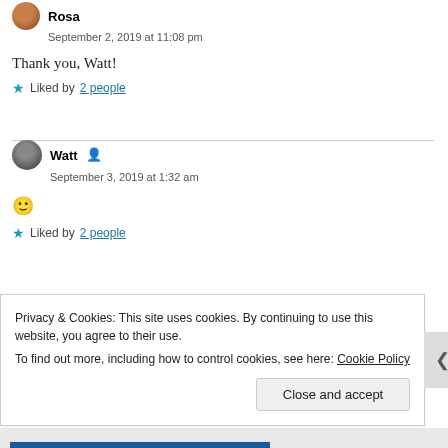[Figure (other): Rosa avatar (circular profile photo)]
Rosa
September 2, 2019 at 11:08 pm
Thank you, Watt!
Liked by 2 people
[Figure (other): Watt avatar (circular profile photo)]
Watt
September 3, 2019 at 1:32 am
🙂
Liked by 2 people
Privacy & Cookies: This site uses cookies. By continuing to use this website, you agree to their use.
To find out more, including how to control cookies, see here: Cookie Policy
Close and accept